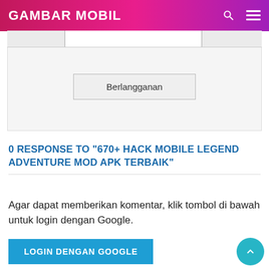GAMBAR MOBIL
[Figure (other): Subscription form with input fields and a Berlangganan (Subscribe) button]
0 RESPONSE TO "670+ HACK MOBILE LEGEND ADVENTURE MOD APK TERBAIK"
Agar dapat memberikan komentar, klik tombol di bawah untuk login dengan Google.
LOGIN DENGAN GOOGLE